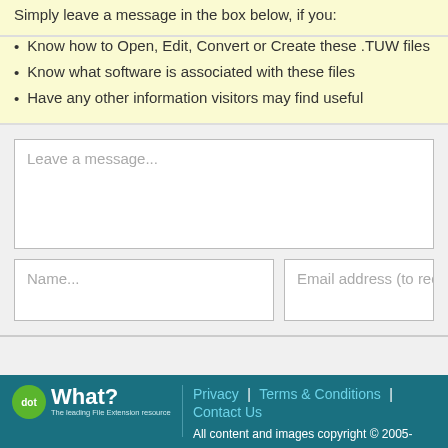Simply leave a message in the box below, if you:
Know how to Open, Edit, Convert or Create these .TUW files
Know what software is associated with these files
Have any other information visitors may find useful
Leave a message...
Name...
Email address (to receive em...
Privacy | Terms & Conditions | Contact Us
All content and images copyright © 2005-2022 dotwhat
All Rights Reserved.